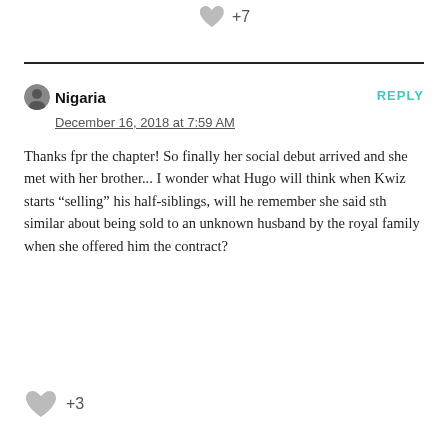[Figure (other): Gray heart/like icon with +7 count at top of page]
Nigaria
December 16, 2018 at 7:59 AM
Thanks fpr the chapter! So finally her social debut arrived and she met with her brother... I wonder what Hugo will think when Kwiz starts “selling” his half-siblings, will he remember she said sth similar about being sold to an unknown husband by the royal family when she offered him the contract?
[Figure (other): Gray heart/like icon with +3 count at bottom of page]